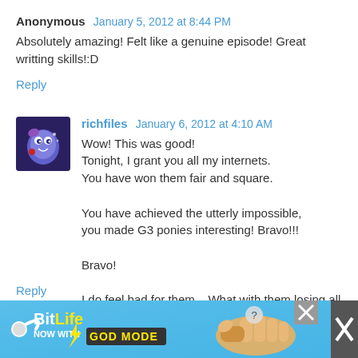Anonymous  January 5, 2012 at 8:44 PM
Absolutely amazing! Felt like a genuine episode! Great writting skills!:D
Reply
[Figure (illustration): Avatar image for user richfiles — cartoon character with blue and purple coloring on dark background]
richfiles  January 6, 2012 at 4:10 AM
Wow! This was good!
Tonight, I grant you all my internets.
You have won them fair and square.

You have achieved the utterly impossible,
you made G3 ponies interesting! Bravo!!!

Bravo!

I do feel bad for them... What with them losing all their nifty action hoof grip powers. Poor darlings! BWAHAHAHAHAHA!!!
Reply
[Figure (infographic): BitLife advertisement banner — NOW WITH GOD MODE, with sperm logo, lightning bolt, and pointing hand graphic]